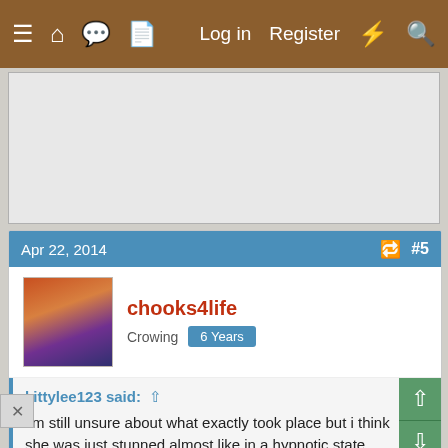Log in   Register
[Figure (other): Advertisement placeholder box]
Apr 22, 2014   #5
chooks4life
Crowing   6 Years
kittylee123 said:
I'm still unsure about what exactly took place but i think she was just stunned almost like in a hypnotic state....
she was up running around like normal befor i even went to bed that nite and i put her back with the group the following morning she has been fine and i have been doing some extreme schooling on how and when to handle the chickens